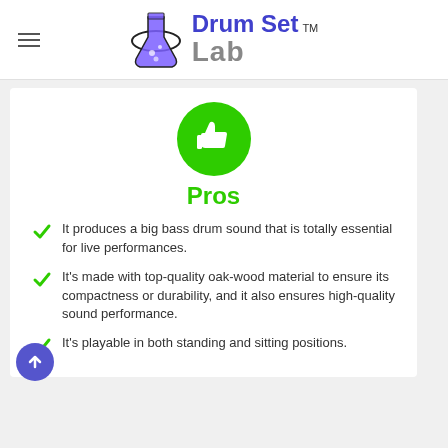Drum Set Lab
[Figure (illustration): Green circle with white thumbs-up icon]
Pros
It produces a big bass drum sound that is totally essential for live performances.
It's made with top-quality oak-wood material to ensure its compactness or durability, and it also ensures high-quality sound performance.
It's playable in both standing and sitting positions.